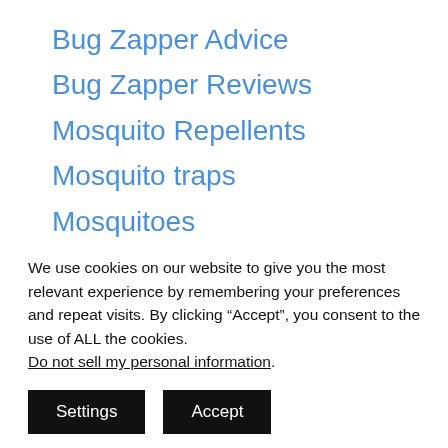Bug Zapper Advice
Bug Zapper Reviews
Mosquito Repellents
Mosquito traps
Mosquitoes
Disclaimers
We use cookies on our website to give you the most relevant experience by remembering your preferences and repeat visits. By clicking “Accept”, you consent to the use of ALL the cookies. Do not sell my personal information.
Settings  Accept